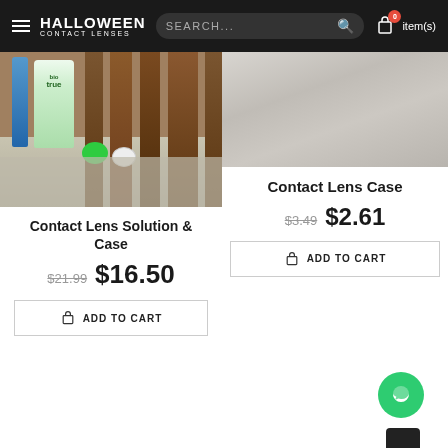HALLOWEEN CONTACT LENSES | Search | 0 item(s)
[Figure (photo): Contact lens solution bottles and case on a bed of white rocks/pebbles with wooden background]
Contact Lens Solution & Case
$21.99  $16.50
ADD TO CART
[Figure (photo): Contact lens case on a textured surface]
Contact Lens Case
$3.49  $2.61
ADD TO CART